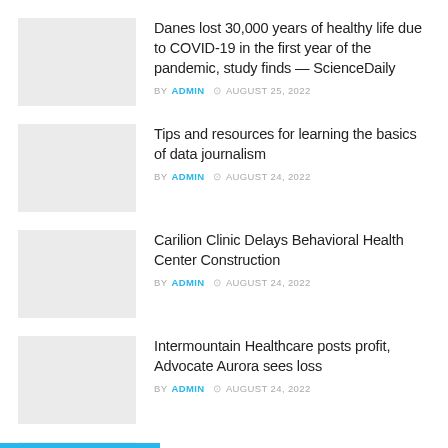Danes lost 30,000 years of healthy life due to COVID-19 in the first year of the pandemic, study finds — ScienceDaily BY ADMIN AUGUST 25, 2022
Tips and resources for learning the basics of data journalism BY ADMIN AUGUST 24, 2022
Carilion Clinic Delays Behavioral Health Center Construction BY ADMIN AUGUST 24, 2022
Intermountain Healthcare posts profit, Advocate Aurora sees loss BY ADMIN AUGUST 24, 2022